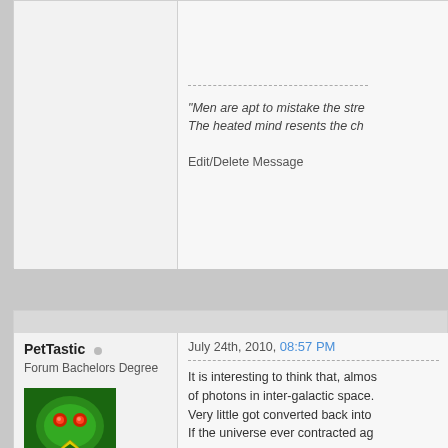"Men are apt to mistake the stre... The heated mind resents the ch...
Edit/Delete Message
PetTastic
Forum Bachelors Degree
July 24th, 2010, 08:57 PM
It is interesting to think that, almos... of photons in inter-galactic space. Very little got converted back into... If the universe ever contracted ag...